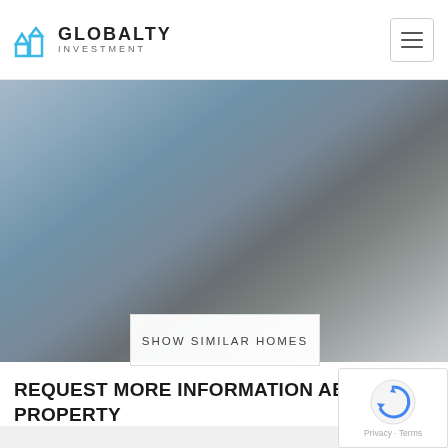GLOBALTY INVESTMENT
[Figure (photo): Blurred photograph of a luxury property with glass facade and ocean/bay view]
SHOW SIMILAR HOMES
1000 Brickell Bay Dr #3905 Miami FL 33131
REQUEST MORE INFORMATION ABOUT TH PROPERTY